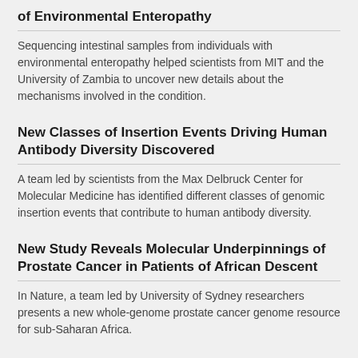of Environmental Enteropathy
Sequencing intestinal samples from individuals with environmental enteropathy helped scientists from MIT and the University of Zambia to uncover new details about the mechanisms involved in the condition.
New Classes of Insertion Events Driving Human Antibody Diversity Discovered
A team led by scientists from the Max Delbruck Center for Molecular Medicine has identified different classes of genomic insertion events that contribute to human antibody diversity.
New Study Reveals Molecular Underpinnings of Prostate Cancer in Patients of African Descent
In Nature, a team led by University of Sydney researchers presents a new whole-genome prostate cancer genome resource for sub-Saharan Africa.
High-Coverage WGS of Expanded 1,000 Genomes Project Cohort
A Cell paper lays out the high-coverage whole-genome